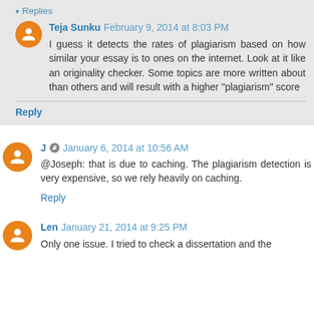▾ Replies
Teja Sunku February 9, 2014 at 8:03 PM
I guess it detects the rates of plagiarism based on how similar your essay is to ones on the internet. Look at it like an originality checker. Some topics are more written about than others and will result with a higher "plagiarism" score
Reply
J  January 6, 2014 at 10:56 AM
@Joseph: that is due to caching. The plagiarism detection is very expensive, so we rely heavily on caching.
Reply
Len January 21, 2014 at 9:25 PM
Only one issue. I tried to check a dissertation and the